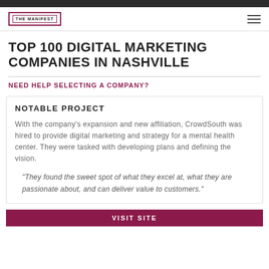THE MANIFEST
TOP 100 DIGITAL MARKETING COMPANIES IN NASHVILLE
NEED HELP SELECTING A COMPANY?
NOTABLE PROJECT
With the company's expansion and new affiliation, CrowdSouth was hired to provide digital marketing and strategy for a mental health center. They were tasked with developing plans and defining the vision.
"They found the sweet spot of what they excel at, what they are passionate about, and can deliver value to customers."